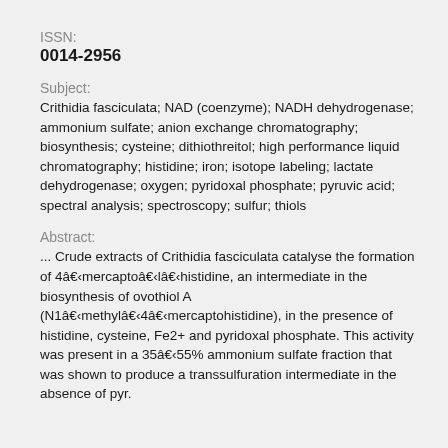ISSN:
0014-2956
Subject:
Crithidia fasciculata; NAD (coenzyme); NADH dehydrogenase; ammonium sulfate; anion exchange chromatography; biosynthesis; cysteine; dithiothreitol; high performance liquid chromatography; histidine; iron; isotope labeling; lactate dehydrogenase; oxygen; pyridoxal phosphate; pyruvic acid; spectral analysis; spectroscopy; sulfur; thiols
Abstract:
... Crude extracts of Crithidia fasciculata catalyse the formation of 4ââmercaptoââlââhistidine, an intermediate in the biosynthesis of ovothiol A (N1ââmethylââ4ââmercaptohistidine), in the presence of histidine, cysteine, Fe2+ and pyridoxal phosphate. This activity was present in a 35ââ55% ammonium sulfate fraction that was shown to produce a transsulfuration intermediate in the absence of pyr.